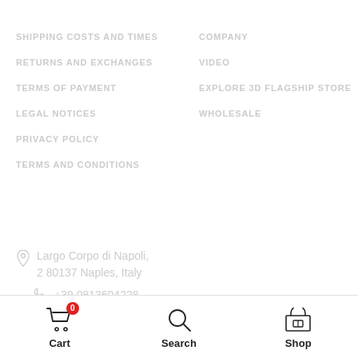SHIPPING COSTS AND TIMES
COMPANY
RETURNS AND EXCHANGES
VIDEO
TERMS OF PAYMENT
EXPLORE 3D FLAGSHIP STORE
LEGAL NOTICES
WHOLESALE
PRIVACY POLICY
TERMS AND CONDITIONS
Largo Corpo di Napoli, 2 80137 Naples, Italy
+39 0813604228
Cart  Search  Shop